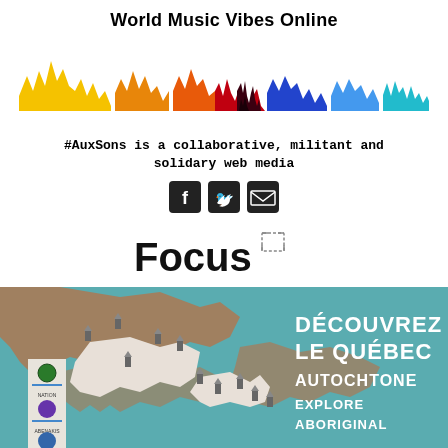World Music Vibes Online
[Figure (illustration): Colorful sound waveform illustration with gradient from yellow to orange to red to dark red/black center to blue to light blue to teal, forming mountain-like peaks]
#AuxSons is a collaborative, militant and solidary web media
[Figure (illustration): Three social media icons in black rounded squares: Facebook, Twitter, Email/envelope]
[Figure (illustration): Focus text with expand/fullscreen icon in top right corner]
[Figure (map): Map of Quebec showing indigenous territories with teal/blue-green background and text DECOUVREZ LE QUEBEC AUTOCHTONE EXPLORE ABORIGINAL on the right side, with various location markers and logos on left side]